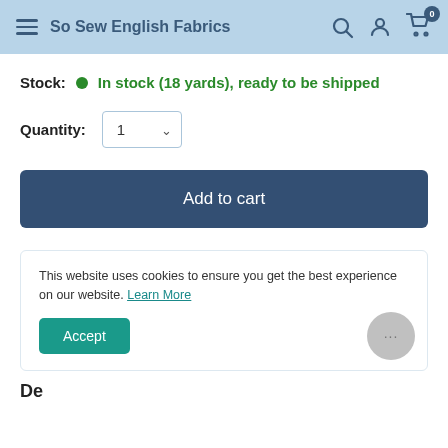So Sew English Fabrics
Stock:  In stock (18 yards), ready to be shipped
Quantity: 1
Add to cart
This website uses cookies to ensure you get the best experience on our website. Learn More
Accept
Description